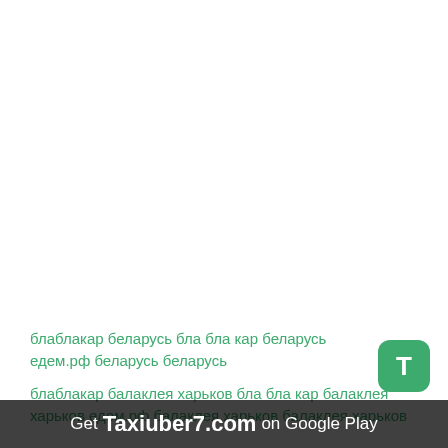блаблакар беларусь бла бла кар беларусь едем.рф беларусь беларусь
блаблакар балаклея харьков бла бла кар балаклея харьков едем.рф балаклея харьков балаклея харьков
[Figure (other): Green rounded square badge with white letter T]
Get Taxiuber7.com on Google Play